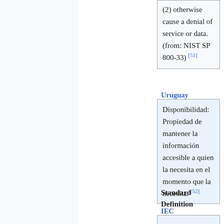(2) otherwise cause a denial of service or data. (from: NIST SP 800-33) [51]
Uruguay
Disponibilidad: Propiedad de mantener la información accesible a quien la necesita en el momento que la necesita. [52]
Standard Definition
IEC